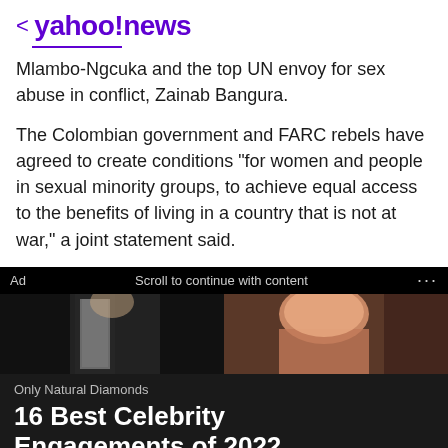< yahoo!news
Mlambo-Ngcuka and the top UN envoy for sex abuse in conflict, Zainab Bangura.
The Colombian government and FARC rebels have agreed to create conditions "for women and people in sexual minority groups, to achieve equal access to the benefits of living in a country that is not at war," a joint statement said.
[Figure (photo): Advertisement banner showing two people, with ad label and scroll to continue with content text. Below is an ad for Only Natural Diamonds.]
Only Natural Diamonds
16 Best Celebrity Engagements of 2022